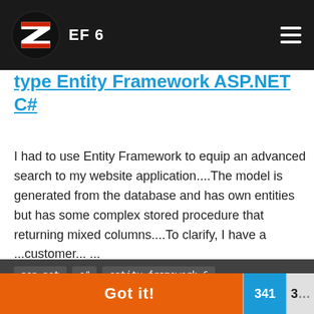EF 6
type Entity Framework ASP.NET C#
I had to use Entity Framework to equip an advanced search to my website application....The model is generated from the database and has own entities but has some complex stored procedure that returning mixed columns....To clarify, I have a ...customer... ...
asp.net  c#  entity-framework-6
This website uses cookies to ensure you get the best experience on our website.
Learn more
Page 341 of 347
Got it!
341